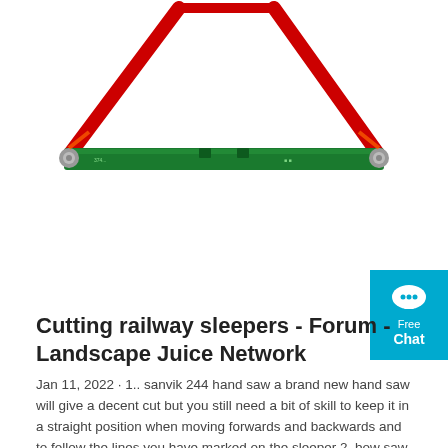[Figure (photo): A bow saw with a green metal blade bar and red metal frame arms forming a triangular shape, photographed against a white background.]
Cutting railway sleepers - Forum - Landscape Juice Network
Jan 11, 2022 · 1.. sanvik 244 hand saw a brand new hand saw will give a decent cut but you still need a bit of skill to keep it in a straight position when moving forwards and backwards and to follow the lines you have marked on the sleeper 2..bow saw fine for cutting a tree down but you will end up with a cut on the end of the sleeper like a dogs hind leg